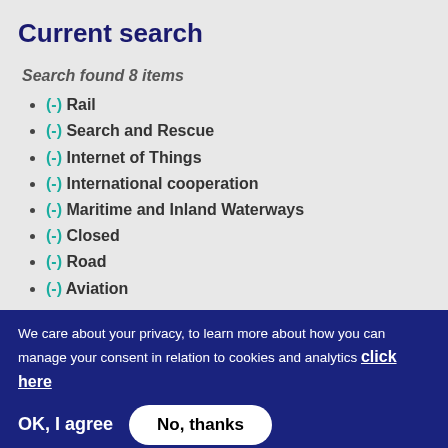Current search
Search found 8 items
(-) Rail
(-) Search and Rescue
(-) Internet of Things
(-) International cooperation
(-) Maritime and Inland Waterways
(-) Closed
(-) Road
(-) Aviation
We care about your privacy, to learn more about how you can manage your consent in relation to cookies and analytics click here
OK, I agree   No, thanks